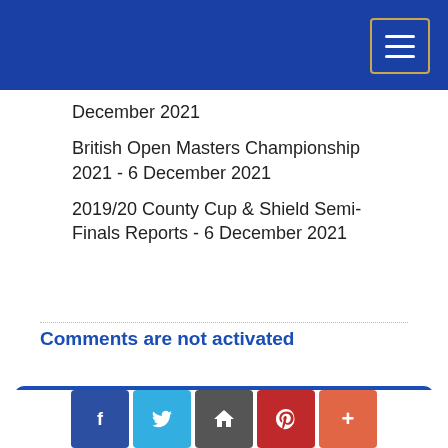December 2021
British Open Masters Championship 2021 - 6 December 2021
2019/20 County Cup & Shield Semi-Finals Reports - 6 December 2021
Comments are not activated
This website uses cookies to ensure you get the best experience on our website. Learn more
Got it!
Subscribe